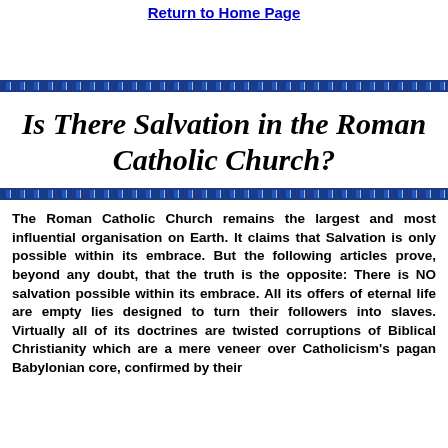Return to Home Page
Is There Salvation in the Roman Catholic Church?
The Roman Catholic Church remains the largest and most influential organisation on Earth. It claims that Salvation is only possible within its embrace. But the following articles prove, beyond any doubt, that the truth is the opposite: There is NO salvation possible within its embrace. All its offers of eternal life are empty lies designed to turn their followers into slaves. Virtually all of its doctrines are twisted corruptions of Biblical Christianity which are a mere veneer over Catholicism's pagan Babylonian core, confirmed by their